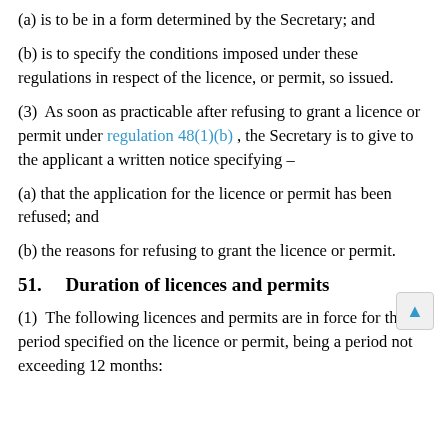(a) is to be in a form determined by the Secretary; and
(b) is to specify the conditions imposed under these regulations in respect of the licence, or permit, so issued.
(3)  As soon as practicable after refusing to grant a licence or permit under regulation 48(1)(b) , the Secretary is to give to the applicant a written notice specifying –
(a) that the application for the licence or permit has been refused; and
(b) the reasons for refusing to grant the licence or permit.
51.   Duration of licences and permits
(1)  The following licences and permits are in force for the period specified on the licence or permit, being a period not exceeding 12 months: